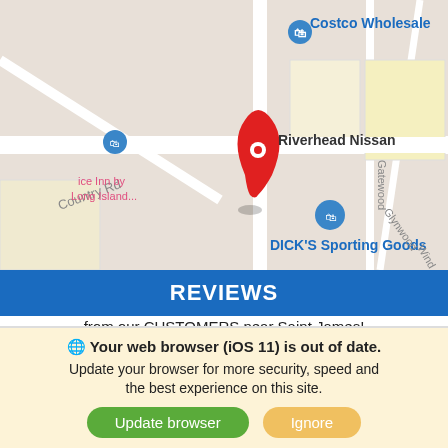[Figure (map): Google Maps screenshot showing Riverhead Nissan location with Costco Wholesale, DICK'S Sporting Goods, and other nearby landmarks. Roads labeled include Gatewood, Glynwood, Country Rd. A red location pin marks Riverhead Nissan.]
REVIEWS
from our CUSTOMERS near Saint James!
Jordan Dellaquila
1 review
★★★★★ 2 months ago -
Your web browser (iOS 11) is out of date. Update your browser for more security, speed and the best experience on this site.